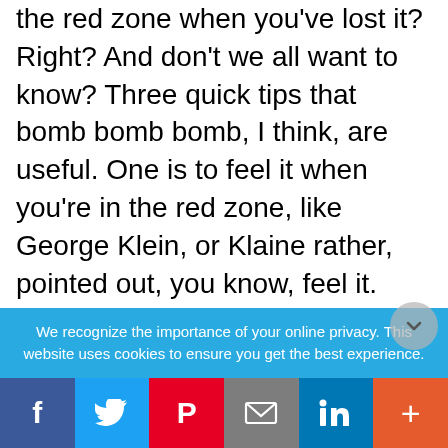the red zone when you've lost it? Right? And don't we all want to know? Three quick tips that bomb bomb bomb, I think, are useful. One is to feel it when you're in the red zone, like George Klein, or Klaine rather, pointed out, you know, feel it. Like, OK, I'm upset. Name it yourself. I'm rattled. I'm scared. Wow am I irritated, frustrated, hurt. Just, whatever, you know, name it to yourself. Try to feel it. Allow it. It's OK. And start disengaging from it, disidentifying from it. It's there. You have it, but you don't have to be it. All right? You're disidentifying from it. And definitely stop fueling it. Stop, you know, in your
We recognize the importance of your online privacy. This website uses cookies to ensure you get the best experience.